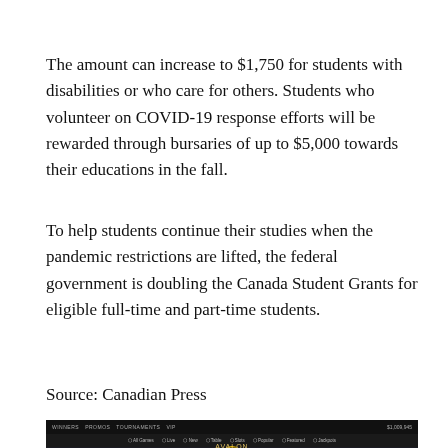The amount can increase to $1,750 for students with disabilities or who care for others. Students who volunteer on COVID-19 response efforts will be rewarded through bursaries of up to $5,000 towards their educations in the fall.
To help students continue their studies when the pandemic restrictions are lifted, the federal government is doubling the Canada Student Grants for eligible full-time and part-time students.
Source: Canadian Press
[Figure (screenshot): Screenshot of an online casino website showing 'Avalon The Lost Kingdom' game banner with dark themed interface, navigation bar, and bottom icon row.]